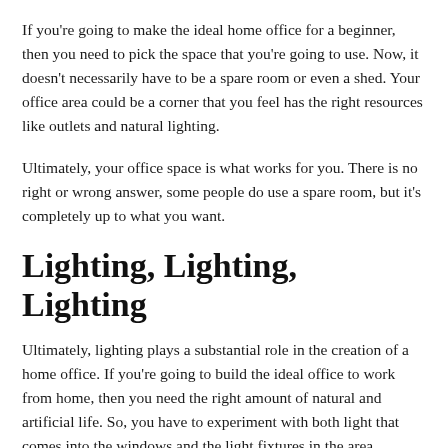If you're going to make the ideal home office for a beginner, then you need to pick the space that you're going to use. Now, it doesn't necessarily have to be a spare room or even a shed. Your office area could be a corner that you feel has the right resources like outlets and natural lighting.
Ultimately, your office space is what works for you. There is no right or wrong answer, some people do use a spare room, but it's completely up to what you want.
Lighting, Lighting, Lighting
Ultimately, lighting plays a substantial role in the creation of a home office. If you're going to build the ideal office to work from home, then you need the right amount of natural and artificial life. So, you have to experiment with both light that comes into the windows and the light fixtures in the area.